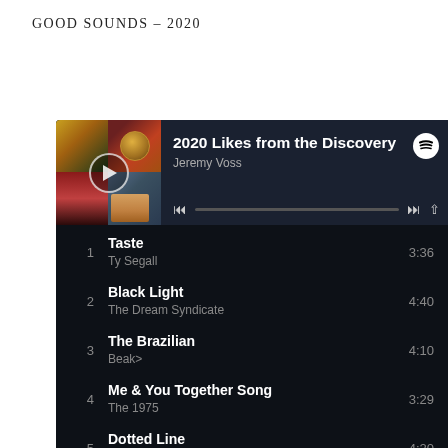GOOD SOUNDS – 2020
[Figure (screenshot): Spotify playlist interface showing '2020 Likes from the Discovery' by Jeremy Voss with 6 tracks listed: 1. Taste - Ty Segall 3:36, 2. Black Light - The Dream Syndicate 4:40, 3. The Brazilian - Beak> 4:10, 4. Me & You Together Song - The 1975 3:29, 5. Dotted Line - Pinegrove 4:20, 6. Cut to the Quick - Olden Yolk 4:02]